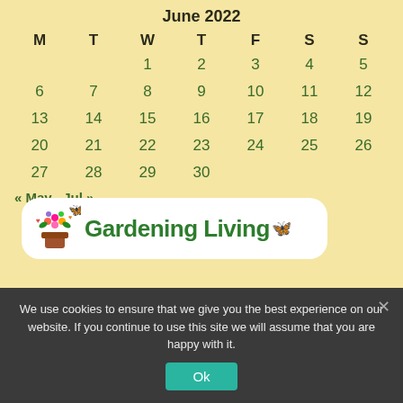June 2022
| M | T | W | T | F | S | S |
| --- | --- | --- | --- | --- | --- | --- |
|  |  | 1 | 2 | 3 | 4 | 5 |
| 6 | 7 | 8 | 9 | 10 | 11 | 12 |
| 13 | 14 | 15 | 16 | 17 | 18 | 19 |
| 20 | 21 | 22 | 23 | 24 | 25 | 26 |
| 27 | 28 | 29 | 30 |  |  |  |
« May   Jul »
[Figure (logo): Gardening Living logo with flower illustration and butterfly]
We use cookies to ensure that we give you the best experience on our website. If you continue to use this site we will assume that you are happy with it.